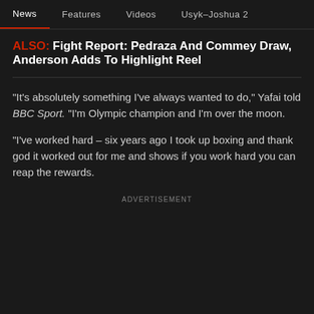News | Features | Videos | Usyk–Joshua 2
ALSO: Fight Report: Pedraza And Commey Draw, Anderson Adds To Highlight Reel
“It’s absolutely something I’ve always wanted to do,” Yafai told BBC Sport. “I’m Olympic champion and I’m over the moon.
“I’ve worked hard – six years ago I took up boxing and thank god it worked out for me and shows if you work hard you can reap the rewards.
ADVERTISEMENT